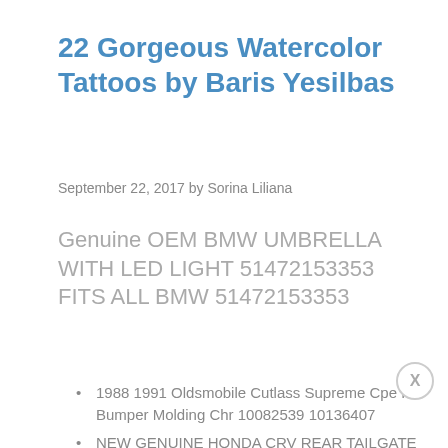22 Gorgeous Watercolor Tattoos by Baris Yesilbas
September 22, 2017 by Sorina Liliana
Genuine OEM BMW UMBRELLA WITH LED LIGHT 51472153353 FITS ALL BMW 51472153353
1988 1991 Oldsmobile Cutlass Supreme Cpe Fr Bumper Molding Chr 10082539 10136407
NEW GENUINE HONDA CRV REAR TAILGATE HANDLE 1997-2001 CRV 74857-S10-033
OEM Honda Splash Guards Mud Flaps Rear Fit...